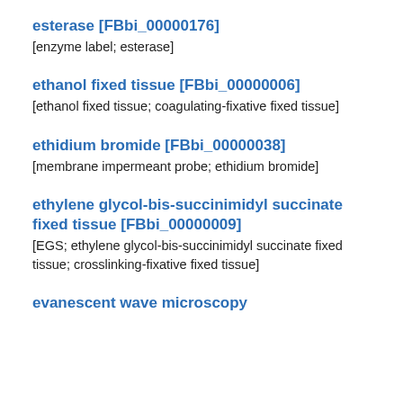esterase [FBbi_00000176]
[enzyme label; esterase]
ethanol fixed tissue [FBbi_00000006]
[ethanol fixed tissue; coagulating-fixative fixed tissue]
ethidium bromide [FBbi_00000038]
[membrane impermeant probe; ethidium bromide]
ethylene glycol-bis-succinimidyl succinate fixed tissue [FBbi_00000009]
[EGS; ethylene glycol-bis-succinimidyl succinate fixed tissue; crosslinking-fixative fixed tissue]
evanescent wave microscopy